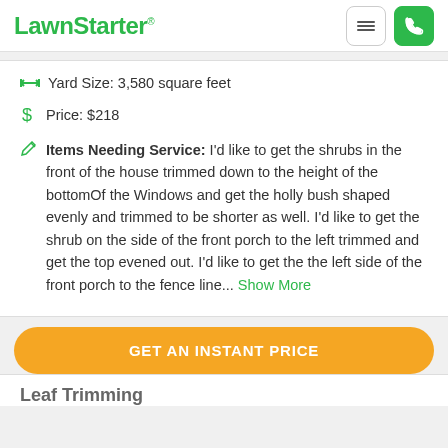LawnStarter®
↔ Yard Size: 3,580 square feet
$ Price: $218
Items Needing Service: I'd like to get the shrubs in the front of the house trimmed down to the height of the bottomOf the Windows and get the holly bush shaped evenly and trimmed to be shorter as well. I'd like to get the shrub on the side of the front porch to the left trimmed and get the top evened out. I'd like to get the the left side of the front porch to the fence line... Show More
GET AN INSTANT PRICE
Leaf Trimming